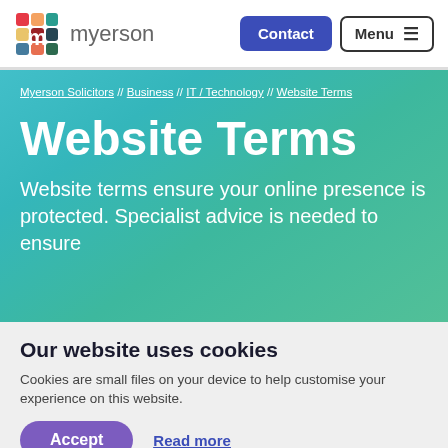myerson | Contact | Menu
Myerson Solicitors // Business // IT / Technology // Website Terms
Website Terms
Website terms ensure your online presence is protected. Specialist advice is needed to ensure
Our website uses cookies
Cookies are small files on your device to help customise your experience on this website.
Accept   Read more